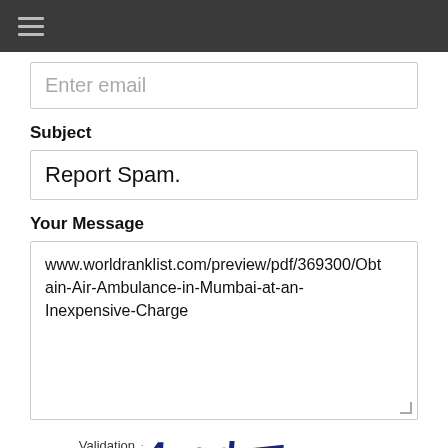Enter email
Subject
Report Spam.
Your Message
www.worldranklist.com/preview/pdf/369300/Obtain-Air-Ambulance-in-Mumbai-at-an-Inexpensive-Charge
Validation code: 4vgdwr